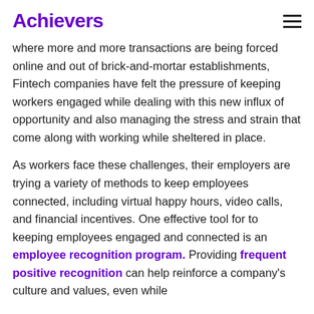Achievers
where more and more transactions are being forced online and out of brick-and-mortar establishments, Fintech companies have felt the pressure of keeping workers engaged while dealing with this new influx of opportunity and also managing the stress and strain that come along with working while sheltered in place.
As workers face these challenges, their employers are trying a variety of methods to keep employees connected, including virtual happy hours, video calls, and financial incentives. One effective tool for to keeping employees engaged and connected is an employee recognition program. Providing frequent positive recognition can help reinforce a company's culture and values, even while